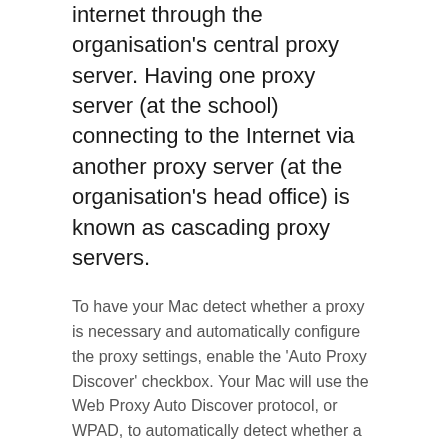internet through the organisation's central proxy server. Having one proxy server (at the school) connecting to the Internet via another proxy server (at the organisation's head office) is known as cascading proxy servers.
To have your Mac detect whether a proxy is necessary and automatically configure the proxy settings, enable the 'Auto Proxy Discover' checkbox. Your Mac will use the Web Proxy Auto Discover protocol, or WPAD, to automatically detect whether a proxy is necessary. This setting may be used on business or school networks, for example.
lois vpn
google private browsing ipad
betternet how to change country
vidéo amazon google chromecast